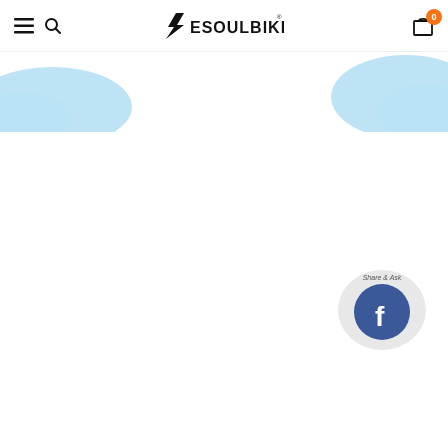[Figure (screenshot): Esoulbike website header/navbar with hamburger menu, search icon, Esoulbike logo with lightning bolt, and shopping cart icon with badge showing 0]
[Figure (illustration): Light blue decorative blob/wave shape on the left side below navbar]
[Figure (illustration): Light blue decorative blob/wave shape on the right side below navbar]
[Figure (illustration): Facebook Share & Ask widget bubble in bottom right area showing Facebook logo with text Share & Ask]